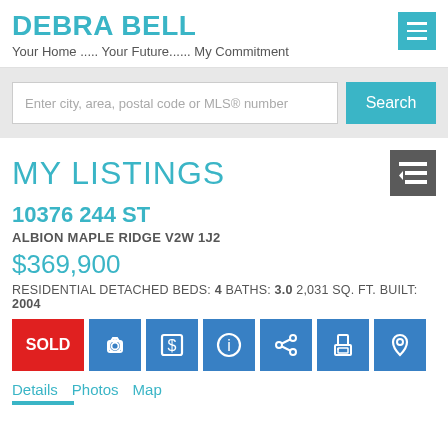DEBRA BELL
Your Home ..... Your Future...... My Commitment
Enter city, area, postal code or MLS® number
MY LISTINGS
10376 244 ST
ALBION MAPLE RIDGE V2W 1J2
$369,900
RESIDENTIAL DETACHED BEDS: 4 BATHS: 3.0 2,031 SQ. FT. BUILT: 2004
SOLD
Details  Photos  Map